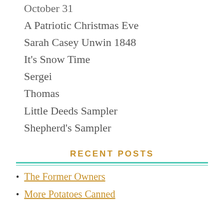October 31
A Patriotic Christmas Eve
Sarah Casey Unwin 1848
It's Snow Time
Sergei
Thomas
Little Deeds Sampler
Shepherd's Sampler
RECENT POSTS
The Former Owners
More Potatoes Canned